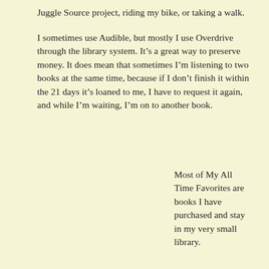Juggle Source project, riding my bike, or taking a walk.
I sometimes use Audible, but mostly I use Overdrive through the library system. It’s a great way to preserve money. It does mean that sometimes I’m listening to two books at the same time, because if I don’t finish it within the 21 days it’s loaned to me, I have to request it again, and while I’m waiting, I’m on to another book.
Most of My All Time Favorites are books I have purchased and stay in my very small library.